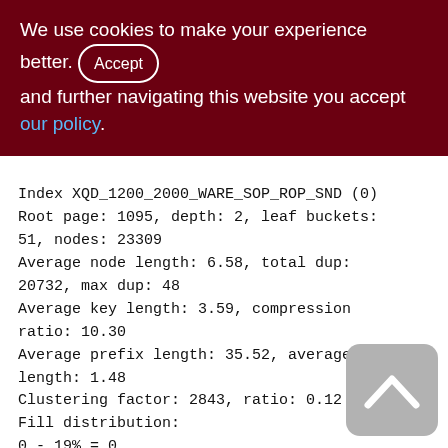We use cookies to make your experience better. By accepting and further navigating this website you accept our policy.
Index XQD_1200_2000_WARE_SOP_ROP_SND (0)
Root page: 1095, depth: 2, leaf buckets: 51, nodes: 23309
Average node length: 6.58, total dup: 20732, max dup: 48
Average key length: 3.59, compression ratio: 10.30
Average prefix length: 35.52, average data length: 1.48
Clustering factor: 2843, ratio: 0.12
Fill distribution:
0 - 19% = 0
20 - 39% = 0